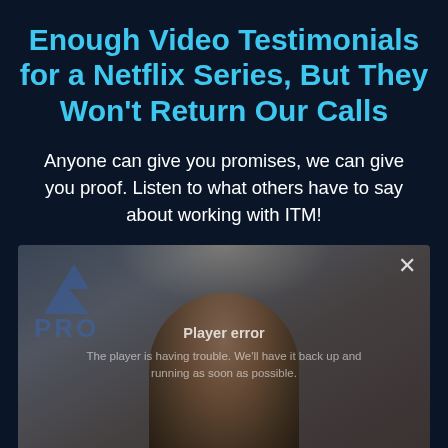Enough Video Testimonials for a Netflix Series, But They Won't Return Our Calls
Anyone can give you promises, we can give you proof. Listen to what others have to say about working with ITM!
[Figure (screenshot): Video player screenshot showing a person in a dark room with a logo partially visible (letters 'PRO' and a chevron/arrow shape in blue), overlaid with a player error message: 'Player error - The player is having trouble. We'll have it back up and running as soon as possible.' A close (X) button is shown in the top right corner of the player.]